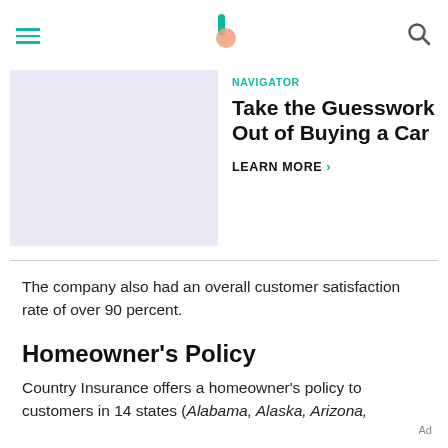NAVIGATOR
[Figure (other): Advertisement banner with lavender placeholder image on the left and text on the right reading NAVIGATOR / Take the Guesswork Out of Buying a Car / LEARN MORE]
The company also had an overall customer satisfaction rate of over 90 percent.
Homeowner's Policy
Country Insurance offers a homeowner's policy to customers in 14 states (Alabama, Alaska, Arizona,